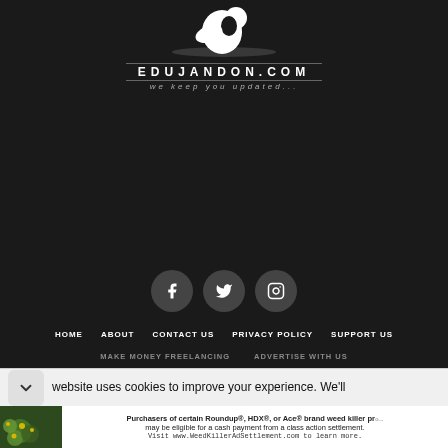[Figure (logo): EduJandon.com website logo with bird/music icon and tagline 'we keep you updated...' on dark background]
[Figure (illustration): Social media icons: Facebook, Twitter, Instagram on circular dark grey buttons]
HOME   ABOUT   CONTACT US   PRIVACY POLICY   SUPPORT US
MAKE MONEY FREELANCING   ADVERTISE WITH US
website uses cookies to improve your experience. We'll
[Figure (infographic): Advertisement banner: Purchasers of certain Roundup®, HDX®, or Ace® brand weed killer products may be eligible for a cash payment from a class action settlement. Visit www.WeedKillerAdSettlement.com to learn more.]